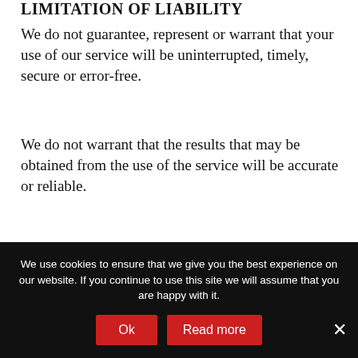LIMITATION OF LIABILITY
We do not guarantee, represent or warrant that your use of our service will be uninterrupted, timely, secure or error-free.
We do not warrant that the results that may be obtained from the use of the service will be accurate or reliable.
You agree that from time to time we may remove the service for indefinite periods of time or cancel the service at any time, without notice to you.
You expressly agree that your use of, or inability to
We use cookies to ensure that we give you the best experience on our website. If you continue to use this site we will assume that you are happy with it.